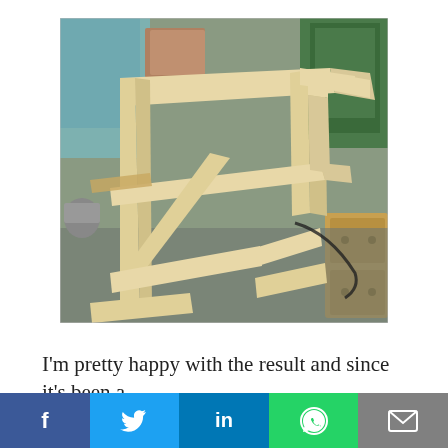[Figure (photo): A wooden table or desk frame under construction, laid out in a workshop/garage setting with tools, wood pieces, and a green machine visible in the background. The frame consists of pale natural wood beams assembled in an H or trestle structure on a concrete floor.]
I'm pretty happy with the result and since it's been a